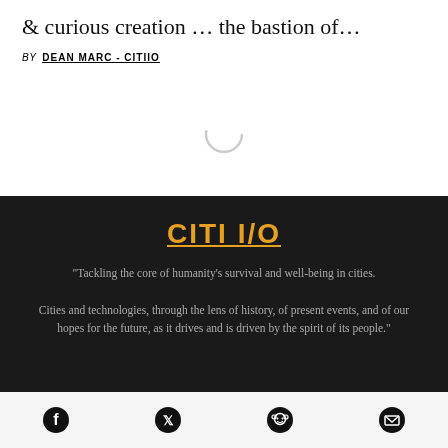& curious creation … the bastion of…
BY DEAN MARC - CITIIO
[Figure (other): Loading spinner circle graphic]
CITI I/O
"Tackling the core of humanity's survival and well-being in cities.

Cities and technologies, through the lens of history, of present events, and of our hopes for the future, as it drives and is driven by the spirit of its people."
[Figure (other): Social media icons: Facebook, Twitter, Reddit, Email]